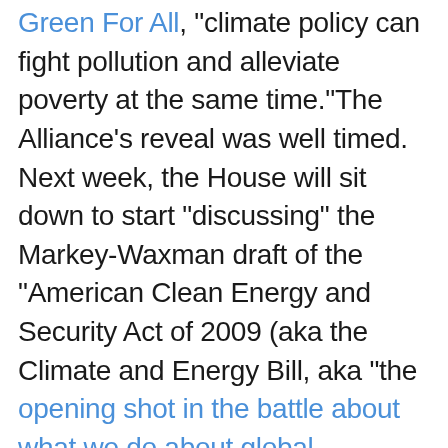Green For All, "climate policy can fight pollution and alleviate poverty at the same time."The Alliance's reveal was well timed. Next week, the House will sit down to start "discussing" the Markey-Waxman draft of the "American Clean Energy and Security Act of 2009 (aka the Climate and Energy Bill, aka "the opening shot in the battle about what we do about global warming"). You may remember that last year's attempt at climate legislation, the Warner-Lieberman bill, was killed abruptly (apparently before it could even be called an "opening shot"). The bill floundered in the face of fossil fuel-industry and right-wing messaging that claimed carbon pricing waged "a war on the